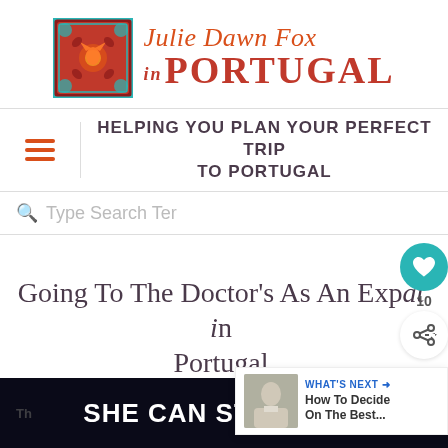[Figure (logo): Julie Dawn Fox in Portugal website logo with decorative tile square and stylized script/serif text]
HELPING YOU PLAN YOUR PERFECT TRIP TO PORTUGAL
Type Search Ter
Going To The Doctor's As An Expat In Portugal
10
WHAT'S NEXT → How To Decide On The Best...
SHE CAN STEM